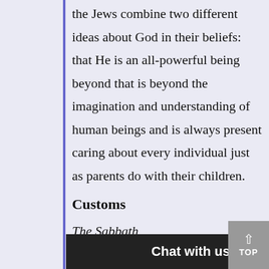the Jews combine two different ideas about God in their beliefs: that He is an all-powerful being beyond that is beyond the imagination and understanding of human beings and is always present caring about every individual just as parents do with their children.
Customs
The Sabbath